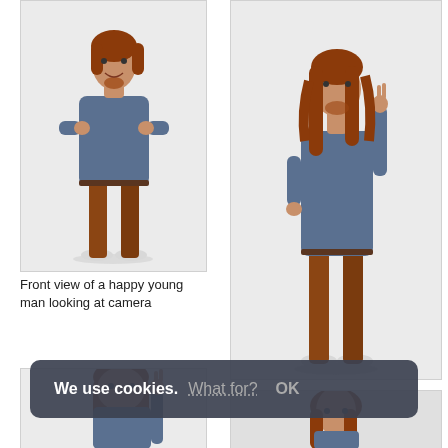[Figure (photo): Front view of a man with long red hair wearing a blue sweater and brown pants, standing with arms crossed, against a light grey background.]
Front view of a happy young man looking at camera
[Figure (photo): Front view of a young man with long red hair in casual blue turtleneck and brown pants, raising one hand, against a light grey background.]
Front view of a young man in casual clothes showing size of something
[Figure (photo): Partial view of a man with long red hair and blue turtleneck, partially obscured by cookie consent banner.]
[Figure (photo): Partial view of a person with red hair, partially obscured by cookie consent banner.]
We use cookies. What for? OK